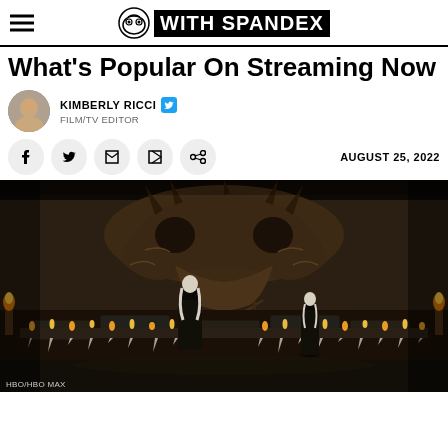WITH SPANDEX
What's Popular On Streaming Now
KIMBERLY RICCI — FILM/TV EDITOR
AUGUST 25, 2022
[Figure (photo): Two figures in black robes standing before a massive dragon skull in a candlelit chamber, from House of the Dragon on HBO/HBO Max]
HBO/HBO MAX